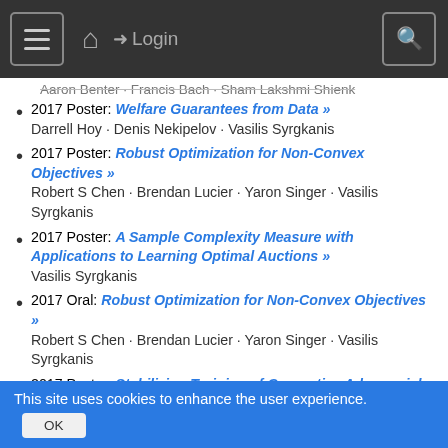Navigation bar with hamburger menu, home icon, Login link, and search icon
2017 Poster: Welfare Guarantees from Data »
Darrell Hoy · Denis Nekipelov · Vasilis Syrgkanis
2017 Poster: Robust Optimization for Non-Convex Objectives »
Robert S Chen · Brendan Lucier · Yaron Singer · Vasilis Syrgkanis
2017 Poster: A Sample Complexity Measure with Applications to Learning Optimal Auctions »
Vasilis Syrgkanis
2017 Oral: Robust Optimization for Non-Convex Objectives »
Robert S Chen · Brendan Lucier · Yaron Singer · Vasilis Syrgkanis
2017 Poster: Stabilizing Training of Generative Adversarial Networks through Regularization »
Kevin Roth · Aurelien Lucchi · Sebastian Nowozin · Thomas Hofmann
2016 [truncated title] »
Ian Goodfellow · Soumith Chintala · Arthur Gretton · Sebastian Nowozin · Aaron Courville · Yann LeCun · Emily [truncated]
This site uses cookies to enhance the user experience.